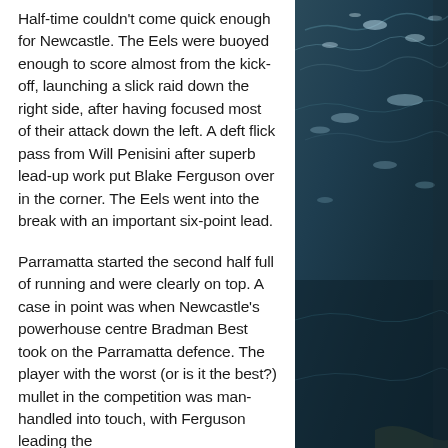Half-time couldn't come quick enough for Newcastle. The Eels were buoyed enough to score almost from the kick-off, launching a slick raid down the right side, after having focused most of their attack down the left. A deft flick pass from Will Penisini after superb lead-up work put Blake Ferguson over in the corner. The Eels went into the break with an important six-point lead.
Parramatta started the second half full of running and were clearly on top. A case in point was when Newcastle's powerhouse centre Bradman Best took on the Parramatta defence. The player with the worst (or is it the best?) mullet in the competition was man-handled into touch, with Ferguson leading the
[Figure (photo): A dark teal ocean/water surface photograph showing light reflecting off rippling waves, taken from above or at an angle. The water fills the right side column of the page.]